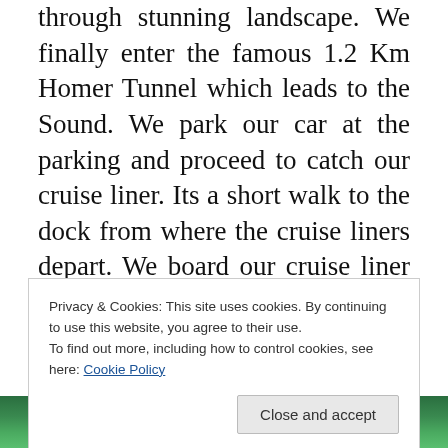through stunning landscape. We finally enter the famous 1.2 Km Homer Tunnel which leads to the Sound. We park our car at the parking and proceed to catch our cruise liner. Its a short walk to the dock from where the cruise liners depart. We board our cruise liner and brace ourselves for Milford Sound. As we soak in the views, we feel at peace with the world. Its so beautiful. The cruise is just wonderful... fabulous views, mountains, waterfalls...close ups of seals. In two words, picture perfect. The
Privacy & Cookies: This site uses cookies. By continuing to use this website, you agree to their use.
To find out more, including how to control cookies, see here: Cookie Policy
Close and accept
[Figure (photo): Bottom portion of a photo showing green foliage or trees, partially visible]